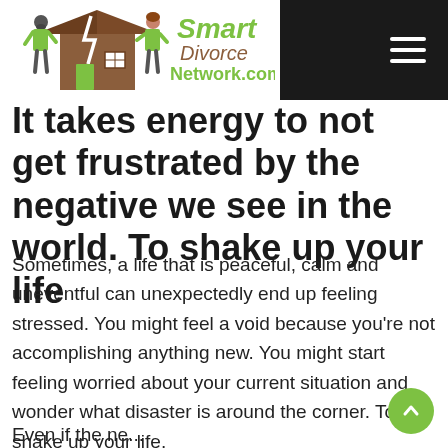[Figure (logo): Smart Divorce Network.com logo with illustrated broken house and two people]
It takes energy to not get frustrated by the negative we see in the world. To shake up your life
Sometimes, a life that is peaceful, calm and uneventful can unexpectedly end up feeling stressed. You might feel a void because you're not accomplishing anything new. You might start feeling worried about your current situation and wonder what disaster is around the corner. To shake up your life.
Even if the ne...